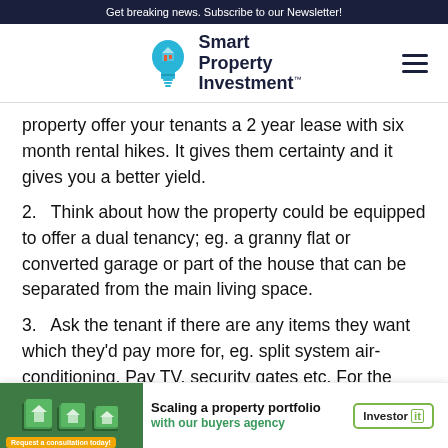Get breaking news. Subscribe to our Newsletter!
[Figure (logo): Smart Property Investment logo with lightbulb icon]
property offer your tenants a 2 year lease with six month rental hikes. It gives them certainty and it gives you a better yield.
2.   Think about how the property could be equipped to offer a dual tenancy; eg. a granny flat or converted garage or part of the house that can be separated from the main living space.
3.   Ask the tenant if there are any items they want which they'd pay more for, eg. split system air-conditioning, Pay TV, security gates etc. For the cost of the works, the return is usua                                                          r on reques
[Figure (infographic): Advertisement banner: Scaling a property portfolio with our buyers agency – Investor Kit. Request a consultation today!]